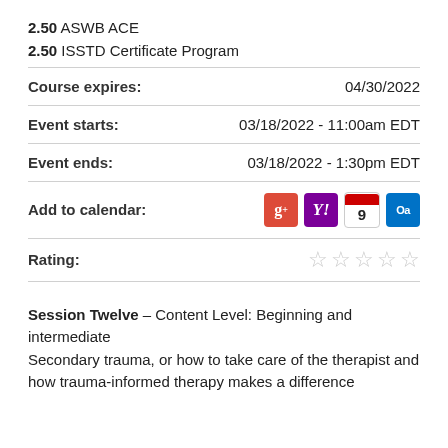2.50 ASWB ACE
2.50 ISSTD Certificate Program
Course expires: 04/30/2022
Event starts: 03/18/2022 - 11:00am EDT
Event ends: 03/18/2022 - 1:30pm EDT
Add to calendar: [calendar icons]
Rating: [5 empty stars]
Session Twelve – Content Level: Beginning and intermediate
Secondary trauma, or how to take care of the therapist and how trauma-informed therapy makes a difference